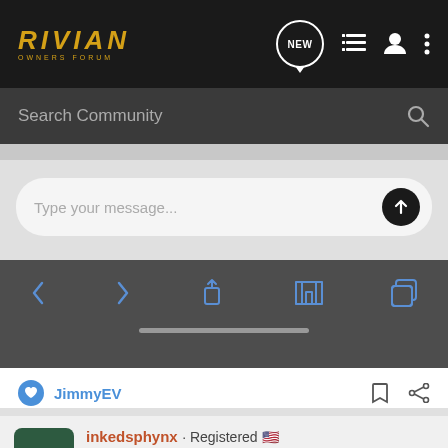RIVIAN OWNERS FORUM
Search Community
[Figure (screenshot): Mobile browser compose area with 'Type your message...' placeholder and send button, followed by browser navigation toolbar with back, forward, share, bookmarks, and tabs icons]
JimmyEV
inkedsphynx · Registered
Joined Nov 16, 2020 · 209 Posts